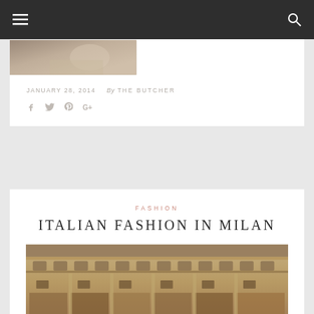≡   🔍
[Figure (photo): Partial image of previous article, cropped at top]
JANUARY 28, 2014   By THE BUTCHER
Social share icons: Facebook, Twitter, Pinterest, Google+
FASHION
ITALIAN FASHION IN MILAN
[Figure (photo): Ornate classical building facade in Milan, Italy — likely the Galleria Vittorio Emanuele II, showing arched windows, columns, and shop fronts]